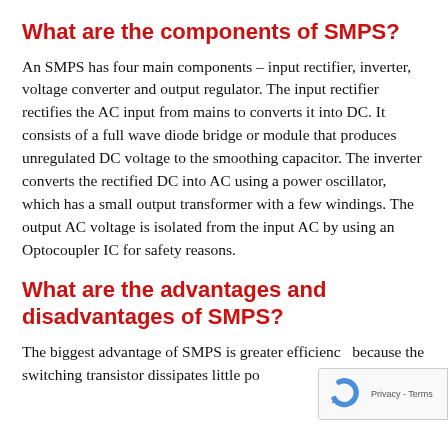What are the components of SMPS?
An SMPS has four main components – input rectifier, inverter, voltage converter and output regulator. The input rectifier rectifies the AC input from mains to converts it into DC. It consists of a full wave diode bridge or module that produces unregulated DC voltage to the smoothing capacitor. The inverter converts the rectified DC into AC using a power oscillator, which has a small output transformer with a few windings. The output AC voltage is isolated from the input AC by using an Optocoupler IC for safety reasons.
What are the advantages and disadvantages of SMPS?
The biggest advantage of SMPS is greater efficiency because the switching transistor dissipates little power...